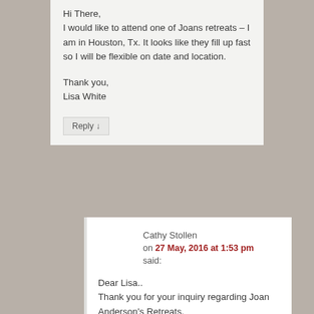Hi There,
I would like to attend one of Joans retreats – I am in Houston, Tx. It looks like they fill up fast so I will be flexible on date and location.

Thank you,
Lisa White
Reply ↓
Cathy Stollen
on 27 May, 2016 at 1:53 pm
said:
Dear Lisa..
Thank you for your inquiry regarding Joan Anderson's Retreats.